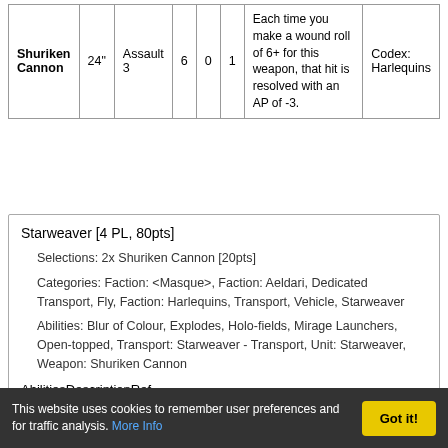| Name | Range | Type | S | AP | D | Abilities | Ref |
| --- | --- | --- | --- | --- | --- | --- | --- |
| Shuriken Cannon | 24" | Assault 3 | 6 | 0 | 1 | Each time you make a wound roll of 6+ for this weapon, that hit is resolved with an AP of -3. | Codex: Harlequins |
Starweaver [4 PL, 80pts]
Selections: 2x Shuriken Cannon [20pts]
Categories: Faction: <Masque>, Faction: Aeldari, Dedicated Transport, Fly, Faction: Harlequins, Transport, Vehicle, Starweaver
Abilities: Blur of Colour, Explodes, Holo-fields, Mirage Launchers, Open-topped, Transport: Starweaver - Transport, Unit: Starweaver, Weapon: Shuriken Cannon
AbilitiesDescriptionRef
When this unit Advances, add 6" to
This website uses cookies to remember user preferences and for traffic analysis. More Info
Got it!